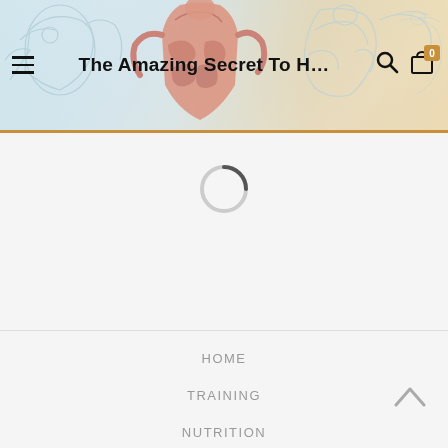[Figure (illustration): Website header with sketched muscular figure drawings in teal/blue and orange tones as banner background]
The Amazing Secret To H…
[Figure (other): Loading spinner (circle arc) indicating page content is loading]
HOME
TRAINING
NUTRITION
HISTORY
GOLDEN AGE
MOVIES
COACHING
SHOP